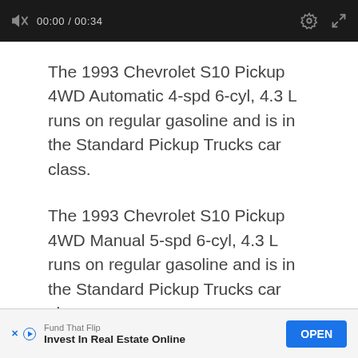[Figure (screenshot): Video player control bar showing muted speaker icon, time 00:00 / 00:34, settings gear icon, and expand icon on black background]
The 1993 Chevrolet S10 Pickup 4WD Automatic 4-spd 6-cyl, 4.3 L runs on regular gasoline and is in the Standard Pickup Trucks car class.
The 1993 Chevrolet S10 Pickup 4WD Manual 5-spd 6-cyl, 4.3 L runs on regular gasoline and is in the Standard Pickup Trucks car class.
[Figure (screenshot): Advertisement banner: Fund That Flip - Invest In Real Estate Online, with OPEN button]